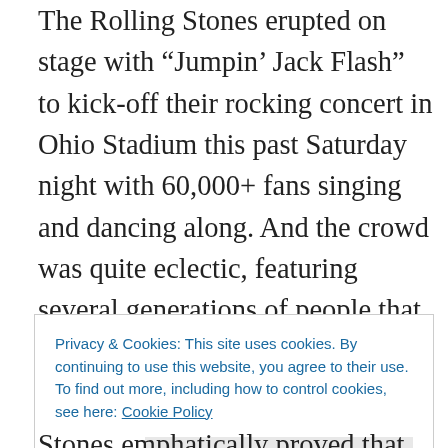The Rolling Stones erupted on stage with “Jumpin’ Jack Flash” to kick-off their rocking concert in Ohio Stadium this past Saturday night with 60,000+ fans singing and dancing along. And the crowd was quite eclectic, featuring several generations of people that made for a great environment to see such a legendary rock n’ roll band. Their 19-song playlist (with one special rendition of a hometown favorite) focused on their immensely popular album, “Sticky Fingers,” as well as a few of their smash hits: “Satisfaction,” “Start Me Up” and “Paint It Black.”
Privacy & Cookies: This site uses cookies. By continuing to use this website, you agree to their use.
To find out more, including how to control cookies, see here: Cookie Policy
Stones emphatically proved that there is no age limit from